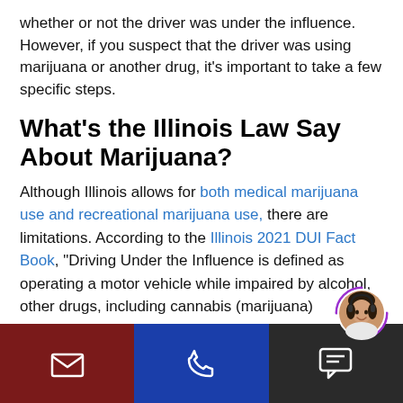whether or not the driver was under the influence. However, if you suspect that the driver was using marijuana or another drug, it's important to take a few specific steps.
What's the Illinois Law Say About Marijuana?
Although Illinois allows for both medical marijuana use and recreational marijuana use, there are limitations. According to the Illinois 2021 DUI Fact Book, "Driving Under the Influence is defined as operating a motor vehicle while impaired by alcohol, other drugs, including cannabis (marijuana) prescribed for medical purposes, intoxicating compounds and methamphetamine. If
[Figure (other): Bottom navigation bar with three sections: dark red email icon, dark blue phone icon, dark gray chat icon. A circular avatar of a woman wearing a headset with purple arc decorations is positioned in the top-right of the chat section.]